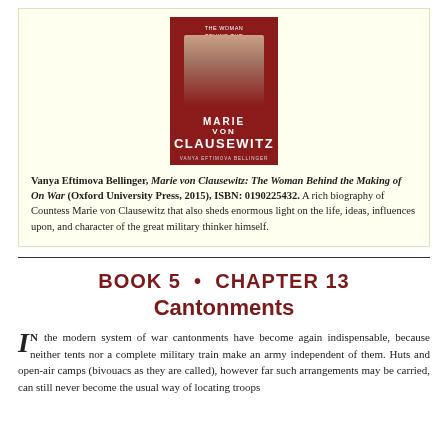[Figure (photo): Book cover of 'Marie von Clausewitz: The Woman Behind the Making of On War' by Vanya Eftimova Bellinger, Oxford University Press. Dark red cover with portrait of a woman.]
Vanya Eftimova Bellinger, Marie von Clausewitz: The Woman Behind the Making of On War (Oxford University Press, 2015), ISBN: 0190225432. A rich biography of Countess Marie von Clausewitz that also sheds enormous light on the life, ideas, influences upon, and character of the great military thinker himself.
BOOK 5 • CHAPTER 13
Cantonments
In the modern system of war cantonments have become again indispensable, because neither tents nor a complete military train make an army independent of them. Huts and open-air camps (bivouacs as they are called), however far such arrangements may be carried, can still never become the usual way of locating troops